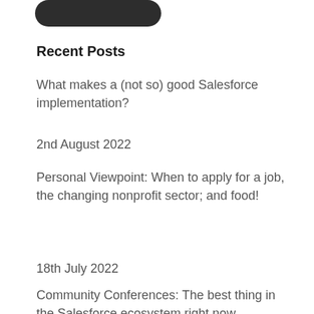[Figure (other): Partial dark rounded rectangle shape, cropped at top of page]
Recent Posts
What makes a (not so) good Salesforce implementation?
2nd August 2022
Personal Viewpoint: When to apply for a job, the changing nonprofit sector; and food!
18th July 2022
Community Conferences: The best thing in the Salesforce ecosystem right now